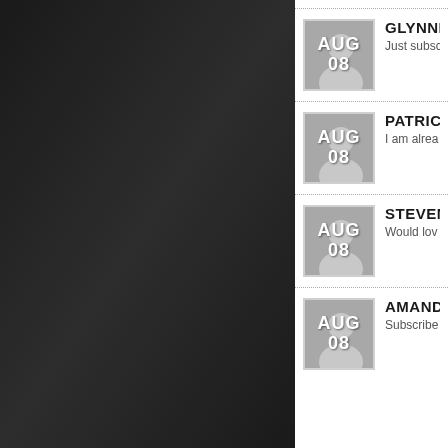[Figure (screenshot): Dark gradient left panel of a user interface]
GLYNNIS - Just subsc...
PATRICIA - I am alrea...
STEVEN R - Would lov...
AMANDA - Subscribe...